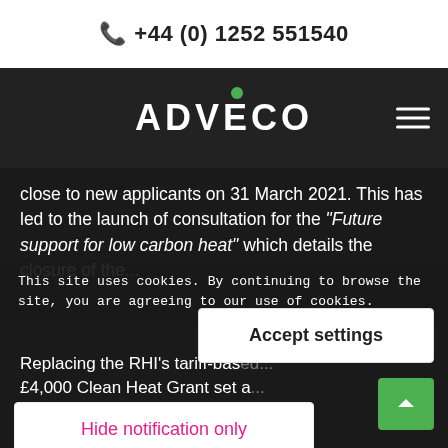+44 (0) 1252 551540
[Figure (logo): ADVECO company logo in white text on dark background with green circle accent above the V]
close to new applicants on 31 March 2021. This has led to the launch of consultation for the "Future support for low carbon heat" which details the closure of the...
This site uses cookies. By continuing to browse the site, you are agreeing to our use of cookies.
Accept settings
Hide notification only
Replacing the RHI's tariff-based... £4,000 Clean Heat Grant set a... opposed to so... across techno... businesses to... cost-effective for their property and address the